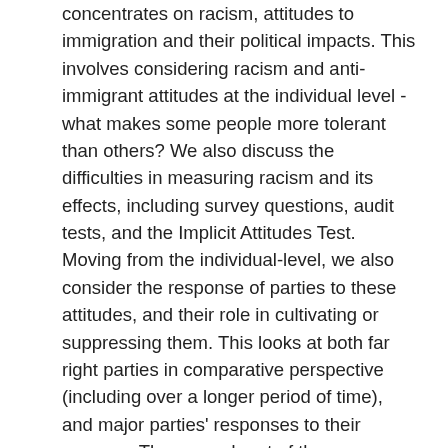concentrates on racism, attitudes to immigration and their political impacts. This involves considering racism and anti-immigrant attitudes at the individual level - what makes some people more tolerant than others? We also discuss the difficulties in measuring racism and its effects, including survey questions, audit tests, and the Implicit Attitudes Test. Moving from the individual-level, we also consider the response of parties to these attitudes, and their role in cultivating or suppressing them. This looks at both far right parties in comparative perspective (including over a longer period of time), and major parties' responses to their success. The second part of the course concludes with a week focussing on Brexit. The final part of the course considers the political behaviour and representation of ethnic minorities and immigrants. The starting point will be a week examining the reasons for strong support for parties of the left among ethnic minority and